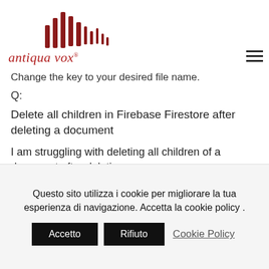[Figure (logo): Antiqua Vox logo with stylized dark red sound wave bars and italic serif wordmark 'antiqua vox®']
Change the key to your desired file name.
Q:
Delete all children in Firebase Firestore after deleting a document
I am struggling with deleting all children of a document after deletion.
I have a Firebase Firestore database structure like this:
Questo sito utilizza i cookie per migliorare la tua esperienza di navigazione. Accetta la cookie policy .
Accetto
Rifiuto
Cookie Policy